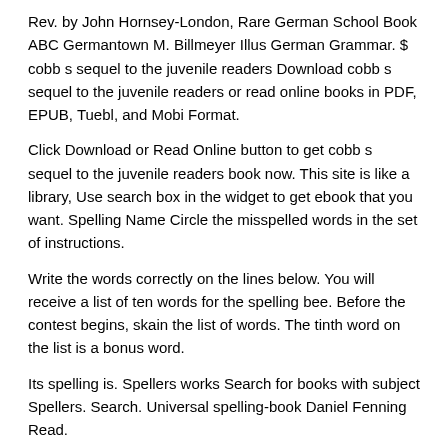Rev. by John Hornsey-London, Rare German School Book ABC Germantown M. Billmeyer Illus German Grammar. $ cobb s sequel to the juvenile readers Download cobb s sequel to the juvenile readers or read online books in PDF, EPUB, Tuebl, and Mobi Format.
Click Download or Read Online button to get cobb s sequel to the juvenile readers book now. This site is like a library, Use search box in the widget to get ebook that you want. Spelling Name Circle the misspelled words in the set of instructions.
Write the words correctly on the lines below. You will receive a list of ten words for the spelling bee. Before the contest begins, skain the list of words. The tinth word on the list is a bonus word.
Its spelling is. Spellers works Search for books with subject Spellers. Search. Universal spelling-book Daniel Fenning Read.
Read. The juvenile spelling-book Albert Picket Read. The only sure guide to the English tongue, or, New pronouncing spellin Perry, William lecturer in the Read. Read.